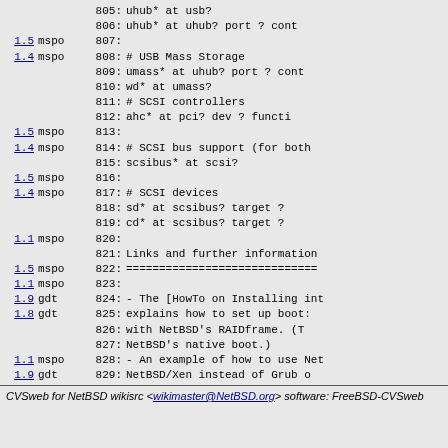| version | who | line | code |
| --- | --- | --- | --- |
|  |  | 805: | uhub*    at usb? |
|  |  | 806: | uhub*    at uhub? port ? cont |
| 1.5 | mspo | 807: |  |
| 1.4 | mspo | 808: | # USB Mass Storage |
|  |  | 809: | umass*   at uhub? port ? cont |
|  |  | 810: | wd*      at umass? |
|  |  | 811: | # SCSI controllers |
|  |  | 812: | ahc*     at pci? dev ? functi |
| 1.5 | mspo | 813: |  |
| 1.4 | mspo | 814: | # SCSI bus support (for both |
|  |  | 815: | scsibus* at scsi? |
| 1.5 | mspo | 816: |  |
| 1.4 | mspo | 817: | # SCSI devices |
|  |  | 818: | sd*      at scsibus? target ? |
|  |  | 819: | cd*      at scsibus? target ? |
| 1.1 | mspo | 820: |  |
|  |  | 821: | Links and further information |
| 1.5 | mspo | 822: | ============================= |
| 1.1 | mspo | 823: |  |
| 1.9 | gdt | 824: | -    The [HowTo on Installing int |
| 1.8 | gdt | 825: |      explains how to set up boot: |
|  |  | 826: |      with NetBSD's RAIDframe.  (T |
|  |  | 827: |      NetBSD's native boot.) |
| 1.1 | mspo | 828: | -    An example of how to use Net |
| 1.9 | gdt | 829: |      NetBSD/Xen instead of Grub o |
|  |  | 830: |      and boot.cfg(5) manpages. |
CVSweb for NetBSD wikisrc <wikimaster@NetBSD.org> software: FreeBSD-CVSweb